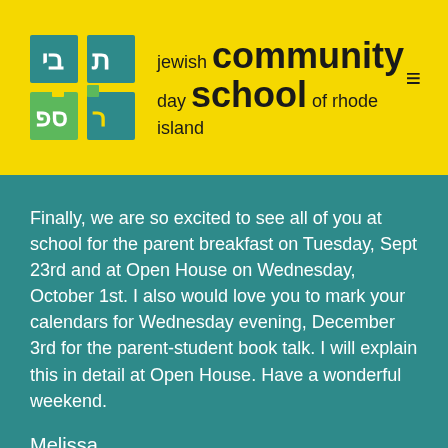[Figure (logo): Jewish Community Day School of Rhode Island logo with Hebrew text in teal and green grid squares and school name in black on yellow background]
Finally, we are so excited to see all of you at school for the parent breakfast on Tuesday, Sept 23rd and at Open House on Wednesday, October 1st. I also would love you to mark your calendars for Wednesday evening, December 3rd for the parent-student book talk. I will explain this in detail at Open House. Have a wonderful weekend.
Melissa